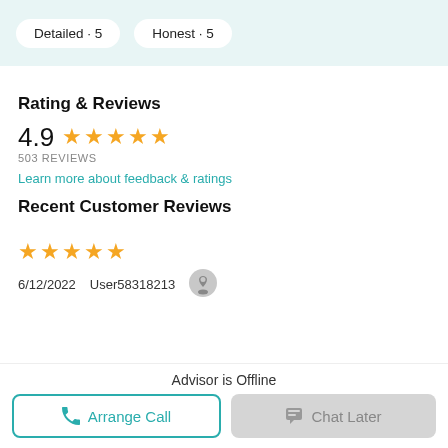Detailed · 5   Honest · 5
Rating & Reviews
4.9 ★★★★★
503 REVIEWS
Learn more about feedback & ratings
Recent Customer Reviews
★★★★★
6/12/2022   User58318213
Advisor is Offline
Arrange Call
Chat Later